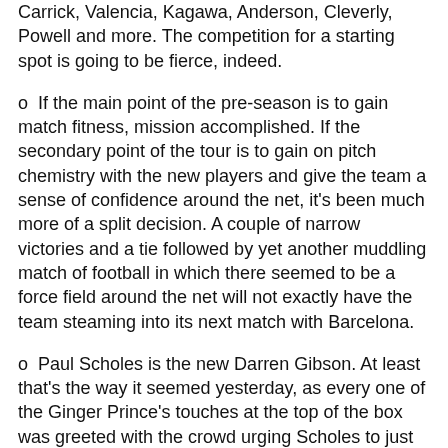Carrick, Valencia, Kagawa, Anderson, Cleverly, Powell and more. The competition for a starting spot is going to be fierce, indeed.
o  If the main point of the pre-season is to gain match fitness, mission accomplished. If the secondary point of the tour is to gain on pitch chemistry with the new players and give the team a sense of confidence around the net, it's been much more of a split decision. A couple of narrow victories and a tie followed by yet another muddling match of football in which there seemed to be a force field around the net will not exactly have the team steaming into its next match with Barcelona.
o  Paul Scholes is the new Darren Gibson. At least that's the way it seemed yesterday, as every one of the Ginger Prince's touches at the top of the box was greeted with the crowd urging Scholes to just "Shoooooooooot!"
o  The Valerenga defense was stalwart, but the Reds' attack picked up momentum as the second half played on, and the belief in a United goal became nearly palpable as the game hit the 75 minute mark. History in the making? A goal always